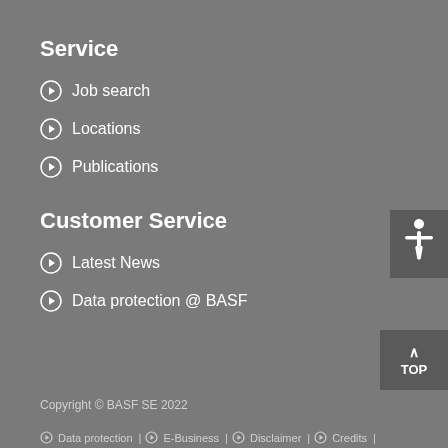Service
Job search
Locations
Publications
Customer Service
Latest News
Data protection @ BASF
[Figure (illustration): Accessibility icon: white human figure with arms spread on dark grey square button]
[Figure (illustration): Top button: upward arrow with text TOP on dark grey square]
Copyright © BASF SE 2022
⊙ Data protection | ⊙ E-Business | ⊙ Disclaimer | ⊙ Credits |